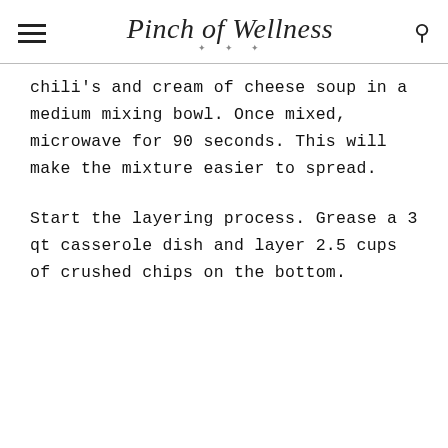Pinch of Wellness
chili's and cream of cheese soup in a medium mixing bowl. Once mixed, microwave for 90 seconds. This will make the mixture easier to spread.
Start the layering process. Grease a 3 qt casserole dish and layer 2.5 cups of crushed chips on the bottom.